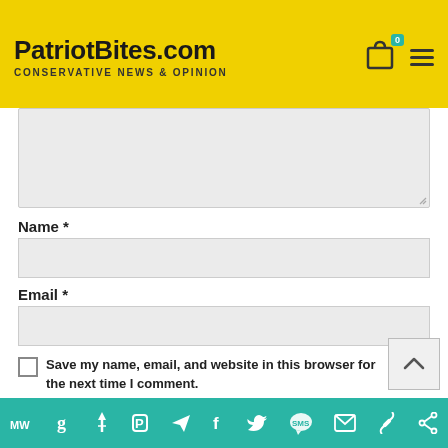PatriotBites.com — CONSERVATIVE NEWS & OPINION
[Figure (screenshot): Comment form textarea (empty input box)]
Name *
[Figure (screenshot): Name text input field (empty)]
Email *
[Figure (screenshot): Email text input field (empty)]
Save my name, email, and website in this browser for the next time I comment.
Social share icons: MW, Goodreads, Torch, Parler, Telegram, Facebook, Twitter, SMS, Email, Chain link, Share